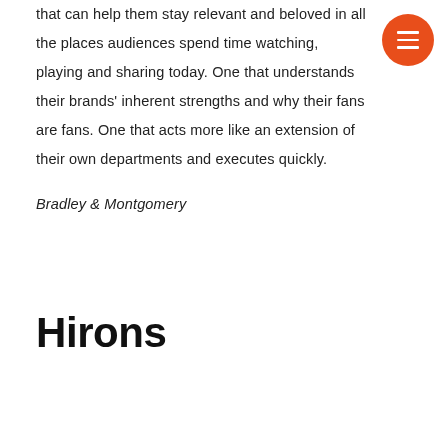that can help them stay relevant and beloved in all the places audiences spend time watching, playing and sharing today. One that understands their brands' inherent strengths and why their fans are fans. One that acts more like an extension of their own departments and executes quickly.
Bradley & Montgomery
Hirons